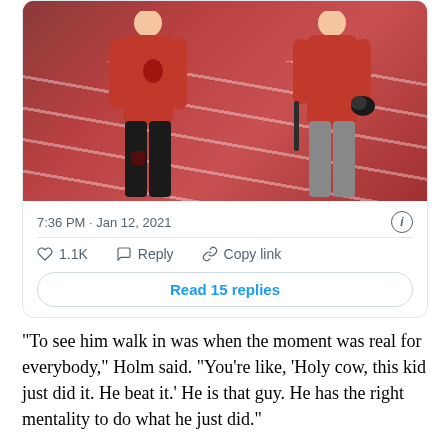[Figure (photo): Two people wearing red long-sleeve shirts standing on an indoor track. The person on the left wears black pants, the person on the right wears gray pants and holds a baseball glove and bat.]
7:36 PM · Jan 12, 2021
1.1K   Reply   Copy link
Read 15 replies
“To see him walk in was when the moment was real for everybody,” Holm said. “You’re like, ‘Holy cow, this kid just did it. He beat it.’ He is that guy. He has the right mentality to do what he just did.”
Krause won’t take the mound this year. It will be